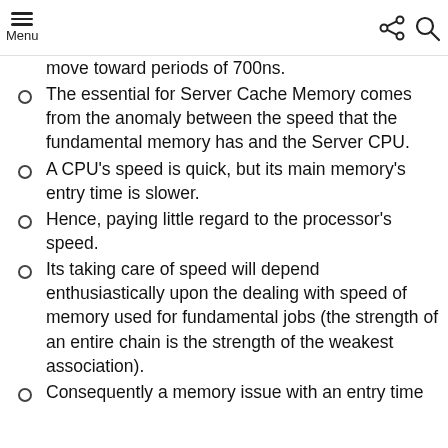Menu | Share | Search
move toward periods of 700ns.
The essential for Server Cache Memory comes from the anomaly between the speed that the fundamental memory has and the Server CPU.
A CPU's speed is quick, but its main memory's entry time is slower.
Hence, paying little regard to the processor's speed.
Its taking care of speed will depend enthusiastically upon the dealing with speed of memory used for fundamental jobs (the strength of an entire chain is the strength of the weakest association).
Consequently a memory issue with an entry time...